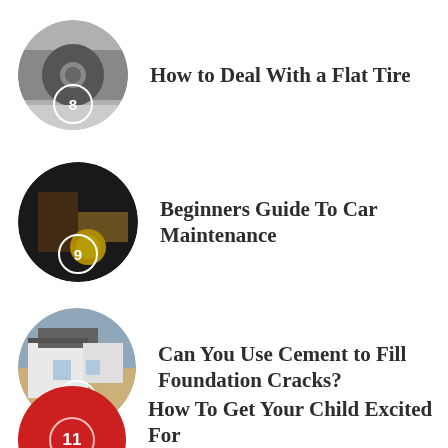8 How to Deal With a Flat Tire
9 Beginners Guide To Car Maintenance
10 Can You Use Cement to Fill Foundation Cracks?
11 How To Get Your Child Excited For Kindergarten